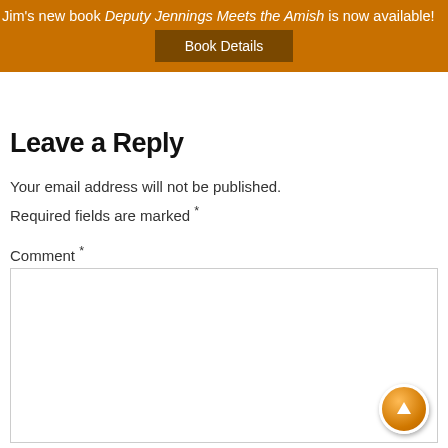Jim's new book Deputy Jennings Meets the Amish is now available! Book Details
Leave a Reply
Your email address will not be published.
Required fields are marked *
Comment *